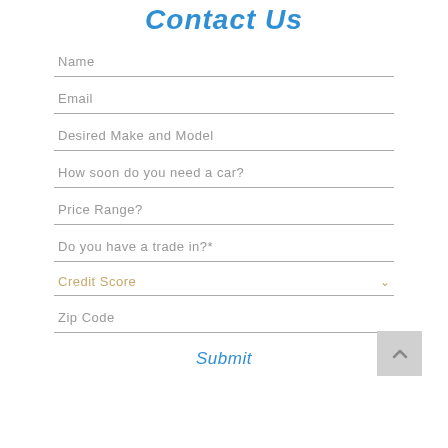Contact Us
Name
Email
Desired Make and Model
How soon do you need a car?
Price Range?
Do you have a trade in?*
Credit Score
Zip Code
Submit